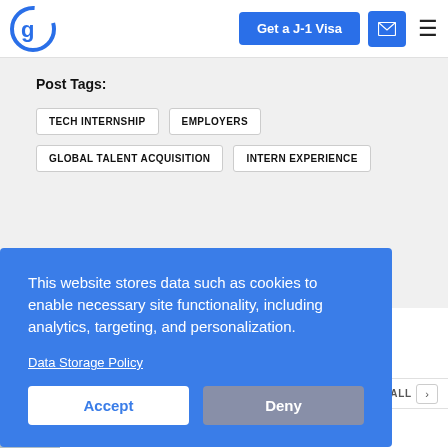[Figure (logo): Circular G logo in blue for a visa/internship company]
Get a J-1 Visa
Post Tags:
TECH INTERNSHIP
EMPLOYERS
GLOBAL TALENT ACQUISITION
INTERN EXPERIENCE
This website stores data such as cookies to enable necessary site functionality, including analytics, targeting, and personalization.
Data Storage Policy
Accept
Deny
VIEW ALL
Student Recruitment Strategy: How To